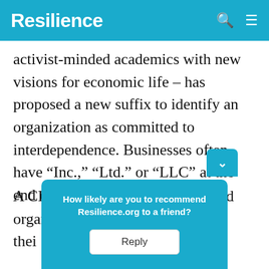Resilience
activist-minded academics with new visions for economic life – has proposed a new suffix to identify an organization as committed to interdependence. Businesses often have “Inc.,” “Ltd.” or “LLC” at the end of their names.
A CERN project called “The Interd… organi… of thei…
[Figure (screenshot): A teal popup widget overlaying the article reading: 'How likely are you to recommend Resilience.org to a friend?' with a Reply button below.]